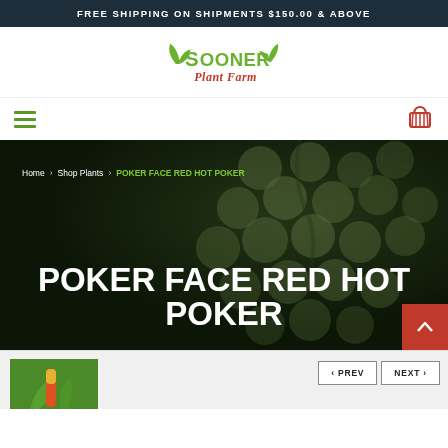FREE SHIPPING ON SHIPMENTS $150.00 & ABOVE
[Figure (logo): Sooner Plant Farm logo with green leaves and red italic Plant Farm text]
[Figure (photo): Dark background showing grape clusters, used as hero banner image]
Home > Shop Plants > POKER FACE RED HOT POKER
POKER FACE RED HOT POKER
[Figure (photo): Partial plant photo showing orange/red flower at bottom of page]
< PREV   NEXT >